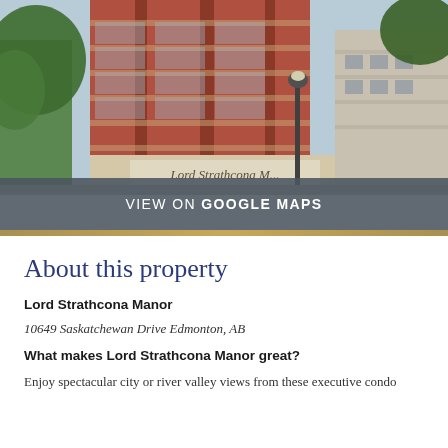[Figure (photo): Street-level photo of Lord Strathcona Manor, a multi-story red brick residential building with balconies, a decorative sign reading 'Lord Strathcona Manor', a street lamp, and trees visible on the left and right.]
VIEW ON GOOGLE MAPS
About this property
Lord Strathcona Manor
10649 Saskatchewan Drive Edmonton, AB
What makes Lord Strathcona Manor great?
Enjoy spectacular city or river valley views from these executive condo